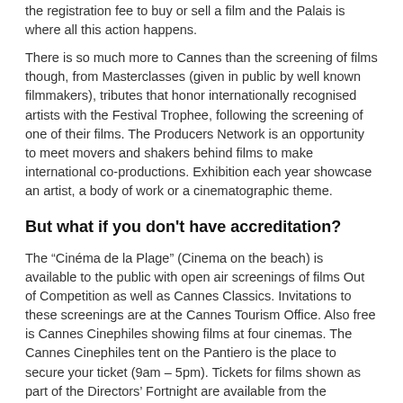the registration fee to buy or sell a film and the Palais is where all this action happens.
There is so much more to Cannes than the screening of films though, from Masterclasses (given in public by well known filmmakers), tributes that honor internationally recognised artists with the Festival Trophee, following the screening of one of their films. The Producers Network is an opportunity to meet movers and shakers behind films to make international co-productions. Exhibition each year showcase an artist, a body of work or a cinematographic theme.
But what if you don’t have accreditation?
The “Cinéma de la Plage” (Cinema on the beach) is available to the public with open air screenings of films Out of Competition as well as Cannes Classics. Invitations to these screenings are at the Cannes Tourism Office. Also free is Cannes Cinephiles showing films at four cinemas. The Cannes Cinephiles tent on the Pantiero is the place to secure your ticket (9am – 5pm). Tickets for films shown as part of the Directors’ Fortnight are available from the Croisette Theatre (JW Marriott Hotel) or through Cannes Cinephiles and cost 7 euros or 30 euros for six screenings.